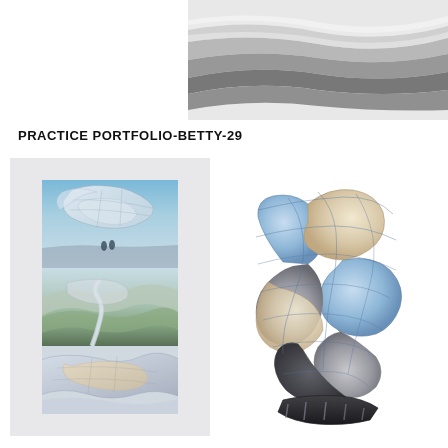[Figure (photo): Architectural model with layered white wave-like horizontal forms, partially visible at top right of page]
PRACTICE PORTFOLIO-BETTY-29
[Figure (illustration): Light gray panel containing a vertical collage of three architectural renderings showing fluid parametric structures: top shows blue sky with translucent flowing forms, middle shows aerial landscape with winding paths through green terrain, bottom shows close-up of beige and grey fluid surfaces]
[Figure (illustration): 3D sculptural model of a complex flower-like or blob-like folded form with blue, beige, grey, and black metallic facets rendered with grid lines, sitting on a dark base]